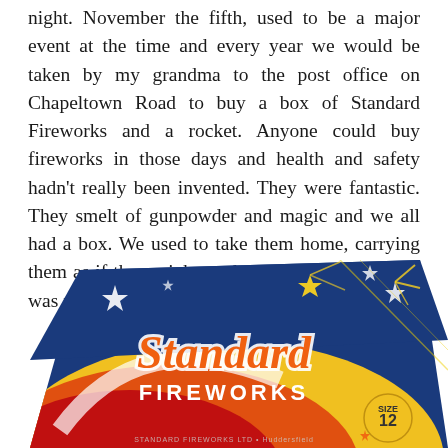night. November the fifth, used to be a major event at the time and every year we would be taken by my grandma to the post office on Chapeltown Road to buy a box of Standard Fireworks and a rocket. Anyone could buy fireworks in those days and health and safety hadn't really been invented. They were fantastic. They smelt of gunpowder and magic and we all had a box. We used to take them home, carrying them as if they might explode at any time, which was probably the case.
[Figure (photo): A Standard Fireworks box, Size 12, with colorful design featuring blue background, yellow and orange swooshes, stars, and the brand name 'Standard' in orange letters with white outline, 'FIREWORKS' in white letters below.]